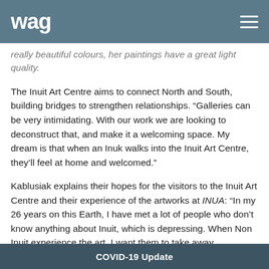wag
really beautiful colours, her paintings have a great light quality.
The Inuit Art Centre aims to connect North and South, building bridges to strengthen relationships. “Galleries can be very intimidating. With our work we are looking to deconstruct that, and make it a welcoming space. My dream is that when an Inuk walks into the Inuit Art Centre, they’ll feel at home and welcomed.”
Kablusiak explains their hopes for the visitors to the Inuit Art Centre and their experience of the artworks at INUA: “In my 26 years on this Earth, I have met a lot of people who don’t know anything about Inuit, which is depressing. When Non Inuit experience the art, I want them to take away something new. We’re a contemporary people who exist outside of the traditional cannon of what art history has set up, beyond the ethnographic gaze most Indigenous people have been subjected to.”
COVID-19 Update